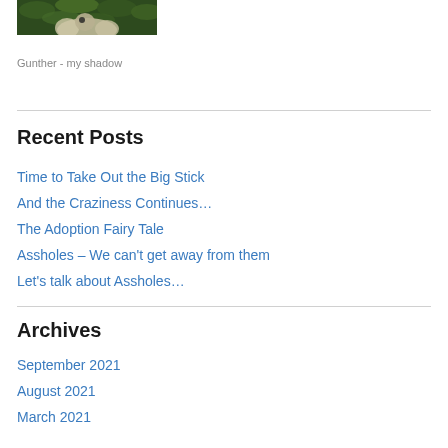[Figure (photo): Photo of a dog (Gunther) outdoors among green leaves/plants, top portion visible]
Gunther - my shadow
Recent Posts
Time to Take Out the Big Stick
And the Craziness Continues…
The Adoption Fairy Tale
Assholes – We can't get away from them
Let's talk about Assholes…
Archives
September 2021
August 2021
March 2021